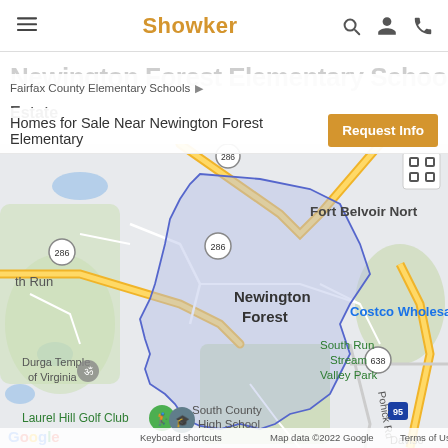≡  Showker  🔍 👤 📞
Fairfax County Elementary Schools ▶
Newington Forest Elementary School Real Estate
Homes for Sale Near Newington Forest Elementary
[Figure (map): Google Maps screenshot showing the Newington Forest neighborhood boundary (blue outline, shaded purple) in Fairfax County, Virginia. Nearby landmarks include Fort Belvoir North, Costco Wholesale, South Run Stream Valley Park, Durga Temple of Virginia, Laurel Hill Golf Club, South County High School, and route markers 286, 638, 95. Labels: Pohick Rd, Davison. Map data ©2022 Google. Keyboard shortcuts. Terms of Use.]
Google   Keyboard shortcuts   Map data ©2022 Google   Terms of Use